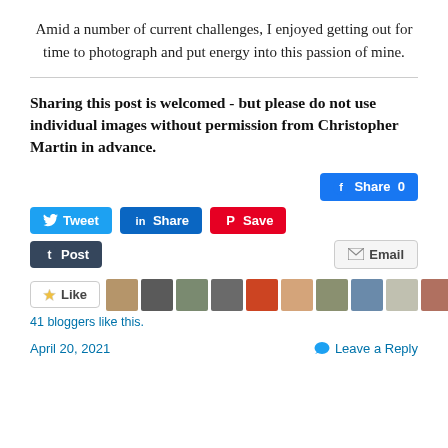Amid a number of current challenges, I enjoyed getting out for time to photograph and put energy into this passion of mine.
Sharing this post is welcomed - but please do not use individual images without permission from Christopher Martin in advance.
[Figure (screenshot): Social sharing buttons: Facebook Share 0, Tweet, LinkedIn Share, Pinterest Save, Tumblr Post, Email]
[Figure (screenshot): Like button and 11 blogger avatar thumbnails. 41 bloggers like this.]
41 bloggers like this.
April 20, 2021   Leave a Reply